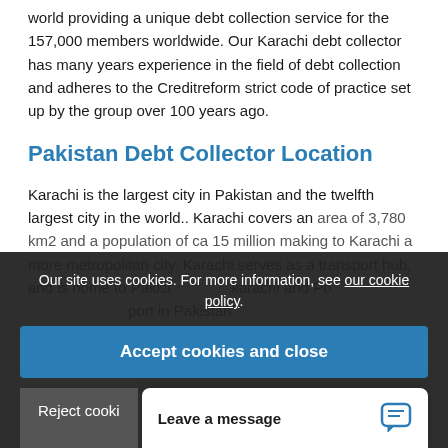world providing a unique debt collection service for the 157,000 members worldwide. Our Karachi debt collector has many years experience in the field of debt collection and adheres to the Creditreform strict code of practice set up by the group over 100 years ago.
Pakistan Debt Collector Location
Karachi is the largest city in Pakistan and the twelfth largest city in the world.. Karachi covers an area of 3,780 km2 and a population of ca 15 million making to Karachi a more metropolitan city. Karachi serves as a transport hub, and is home to Pakistan's... Karachi and Port... port in Pakistan.
The main reasons w...
Our site uses cookies. For more information, see our cookie policy.
Accept cookies and close
Reject cooki...
Leave a message